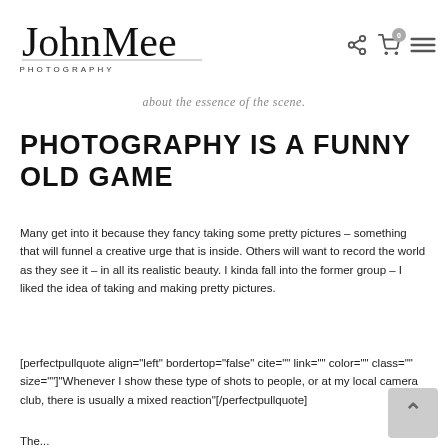[Figure (logo): John Mee Photography handwritten script logo with 'PHOTOGRAPHY' text below]
about the essence of the scene.
PHOTOGRAPHY IS A FUNNY OLD GAME
Many get into it because they fancy taking some pretty pictures – something that will funnel a creative urge that is inside. Others will want to record the world as they see it – in all its realistic beauty. I kinda fall into the former group – I liked the idea of taking and making pretty pictures.
[perfectpullquote align="left" bordertop="false" cite="" link="" color="" class="" size=""]"Whenever I show these type of shots to people, or at my local camera club, there is usually a mixed reaction"[/perfectpullquote]
The...